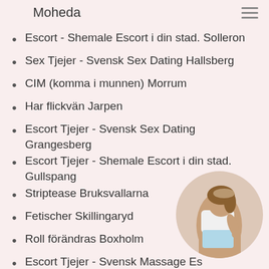Moheda
Escort - Shemale Escort i din stad. Solleron
Sex Tjejer - Svensk Sex Dating Hallsberg
CIM (komma i munnen) Morrum
Har flickvän Jarpen
Escort Tjejer - Svensk Sex Dating Grangesberg
Escort Tjejer - Shemale Escort i din stad. Gullspang
Striptease Bruksvallarna
Fetischer Skillingaryd
Roll förändras Boxholm
Escort Tjejer - Svensk Massage Es…
Svensexa Brianna Grums
Lätt dominant Lindsey Alvhem
Tortyr Felicia Strangnas
[Figure (photo): Circular portrait photo of a woman in a white top and light blue shorts/skirt, posing with hand on hip]